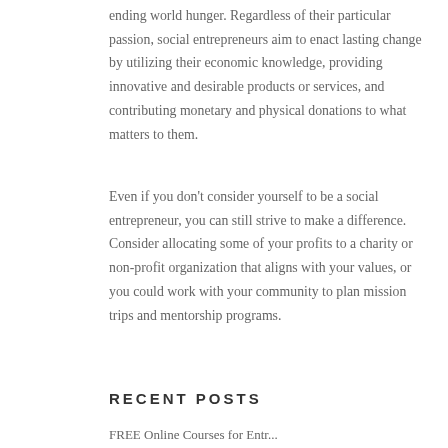ending world hunger. Regardless of their particular passion, social entrepreneurs aim to enact lasting change by utilizing their economic knowledge, providing innovative and desirable products or services, and contributing monetary and physical donations to what matters to them.
Even if you don't consider yourself to be a social entrepreneur, you can still strive to make a difference. Consider allocating some of your profits to a charity or non-profit organization that aligns with your values, or you could work with your community to plan mission trips and mentorship programs.
RECENT POSTS
FREE Online Courses for Entr...